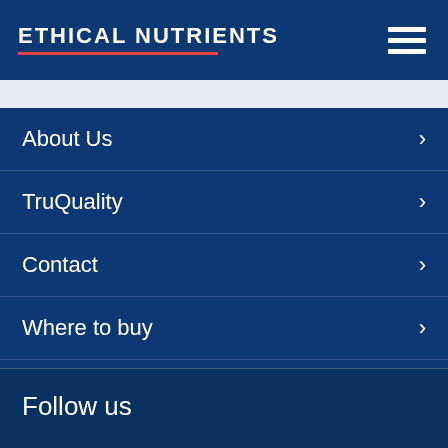ETHICAL NUTRIENTS
About Us
TruQuality
Contact
Where to buy
Follow us